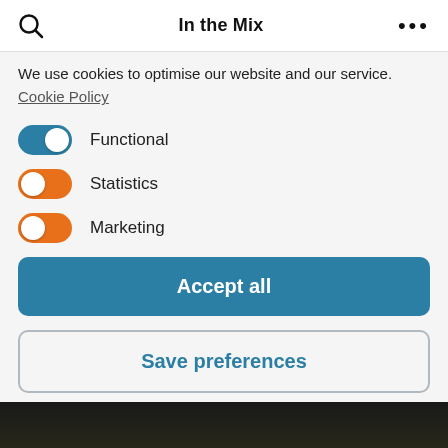In the Mix
We use cookies to optimise our website and our service. Cookie Policy
Functional
Statistics
Marketing
Accept all
Save preferences
[Figure (photo): Partial image of animals visible at bottom of page]